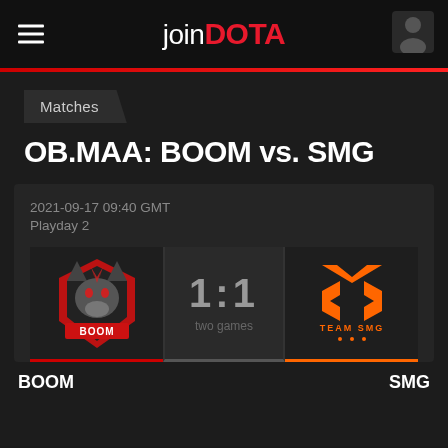joinDOTA
Matches
OB.MAA: BOOM vs. SMG
2021-09-17 09:40 GMT
Playday 2
[Figure (logo): BOOM Esports wolf logo with red accents and BOOM text]
1:1
two games
[Figure (logo): Team SMG orange geometric logo with TEAM SMG text]
BOOM
SMG